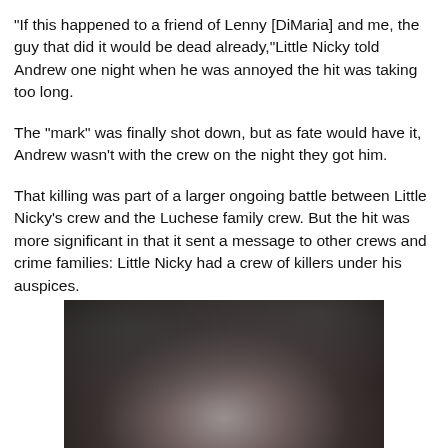"If this happened to a friend of Lenny [DiMaria] and me, the guy that did it would be dead already,"Little Nicky told Andrew one night when he was annoyed the hit was taking too long.
The "mark" was finally shot down, but as fate would have it, Andrew wasn't with the crew on the night they got him.
That killing was part of a larger ongoing battle between Little Nicky's crew and the Luchese family crew. But the hit was more significant in that it sent a message to other crews and crime families: Little Nicky had a crew of killers under his auspices.
[Figure (photo): A dark black and white photograph showing a partially visible face, very dark with shadowy details, low contrast grainy image.]